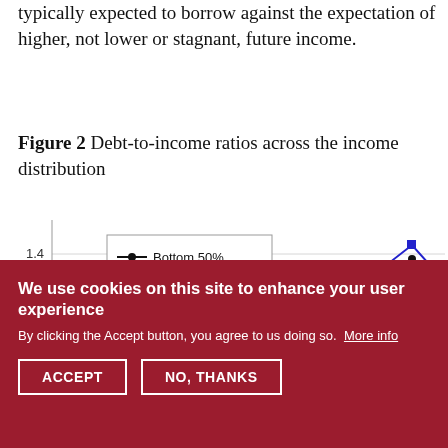typically expected to borrow against the expectation of higher, not lower or stagnant, future income.
Figure 2 Debt-to-income ratios across the income distribution
[Figure (line-chart): Debt-to-income ratios across the income distribution]
We use cookies on this site to enhance your user experience
By clicking the Accept button, you agree to us doing so. More info